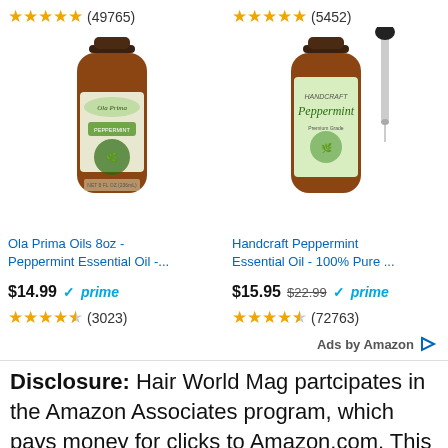[Figure (photo): Two product columns showing Amazon product listings for essential oils. Left: Ola Prima Oils 8oz Peppermint Essential Oil bottle (brown glass). Right: Handcraft Peppermint Essential Oil bottle with dropper.]
(49765)
(5452)
Ola Prima Oils 8oz - Peppermint Essential Oil -...
Handcraft Peppermint Essential Oil - 100% Pure ...
$14.99 ✓prime
$15.95 $22.99 ✓prime
(3023)
(72763)
Ads by Amazon
Disclosure: Hair World Mag partcipates in the Amazon Associates program, which pays money for clicks to Amazon.com. This does not increase the price for you.